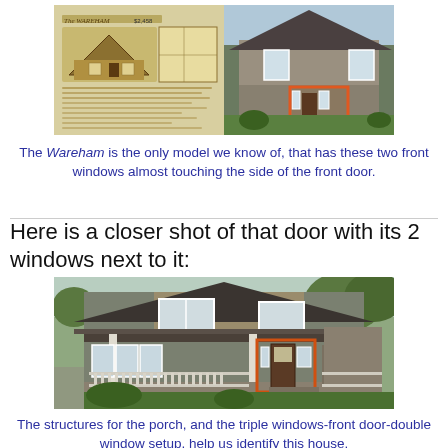[Figure (photo): Composite image: left side shows a vintage Sears catalog entry for 'The Wareham' model at $2,458, with floor plan; right side shows a modern photograph of the actual house with a red/orange rectangle highlighting the front door area.]
The Wareham is the only model we know of, that has these two front windows almost touching the side of the front door.
Here is a closer shot of that door with its 2 windows next to it:
[Figure (photo): Close-up photograph of a craftsman-style house showing the front porch with triple windows, a front door, and a double window to the right. An orange rectangle highlights the front door and adjacent windows area.]
The structures for the porch, and the triple windows-front door-double window setup, help us identify this house.